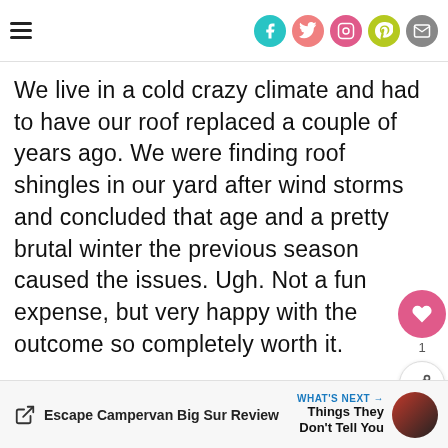Navigation bar with hamburger menu and social icons (Facebook, Twitter, Instagram, Pinterest, Email)
We live in a cold crazy climate and had to have our roof replaced a couple of years ago. We were finding roof shingles in our yard after wind storms and concluded that age and a pretty brutal winter the previous season caused the issues. Ugh. Not a fun expense, but very happy with the outcome so completely worth it.
Escape Campervan Big Sur Review | WHAT'S NEXT → Things They Don't Tell You